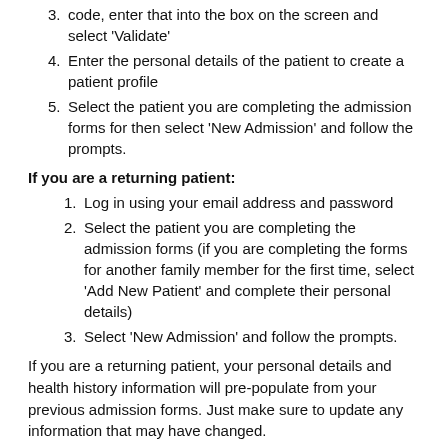code, enter that into the box on the screen and select 'Validate'
Enter the personal details of the patient to create a patient profile
Select the patient you are completing the admission forms for then select 'New Admission' and follow the prompts.
If you are a returning patient:
Log in using your email address and password
Select the patient you are completing the admission forms (if you are completing the forms for another family member for the first time, select 'Add New Patient' and complete their personal details)
Select 'New Admission' and follow the prompts.
If you are a returning patient, your personal details and health history information will pre-populate from your previous admission forms. Just make sure to update any information that may have changed.
The eAdmission process is split into two parts: admission forms and health history. Once they have both been submitted, the hospital will be notified and we can start to prepare for your stay. Please allow 15-30 minutes to complete your eAdmission, ensuring it is submitted as soon as possible and no later than 3 days prior to your admission.